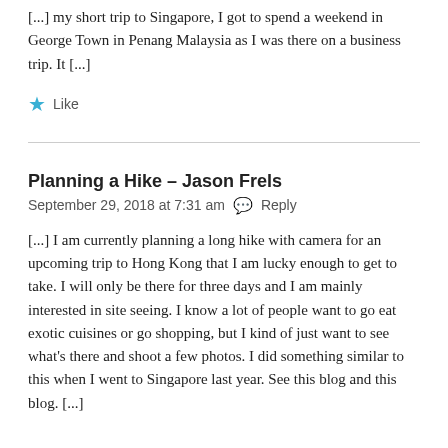[...] my short trip to Singapore, I got to spend a weekend in George Town in Penang Malaysia as I was there on a business trip. It [...]
★ Like
Planning a Hike – Jason Frels
September 29, 2018 at 7:31 am  💬 Reply
[...] I am currently planning a long hike with camera for an upcoming trip to Hong Kong that I am lucky enough to get to take. I will only be there for three days and I am mainly interested in site seeing. I know a lot of people want to go eat exotic cuisines or go shopping, but I kind of just want to see what's there and shoot a few photos. I did something similar to this when I went to Singapore last year. See this blog and this blog. [...]